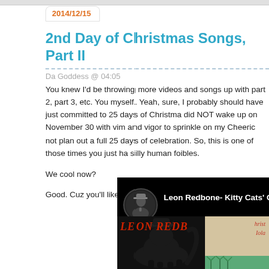2014/12/15
2nd Day of Christmas Songs, Part II
Da Goddess @ 04:05
You knew I'd be throwing more videos and songs up with part 2, part 3, etc. You myself. Yeah, sure, I probably should have just committed to 25 days of Christma did NOT wake up on November 30 with vim and vigor to sprinkle on my Cheeric not plan out a full 25 days of celebration. So, this is one of those times you just ha silly human foibles.

We cool now?

Good. Cuz you'll like this. I promise.
[Figure (screenshot): YouTube video thumbnail for Leon Redbone - Kitty Cats' Christmas, showing album art with a cat silhouette and handwritten text on a tan background, with a dark left panel.]